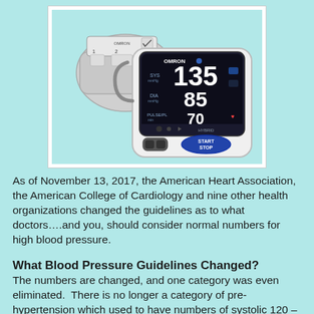[Figure (photo): Omron blood pressure monitor displaying readings of SYS 135, DIA 85, pulse 70, with arm cuff shown alongside]
As of November 13, 2017, the American Heart Association, the American College of Cardiology and nine other health organizations changed the guidelines as to what doctors….and you, should consider normal numbers for high blood pressure.
What Blood Pressure Guidelines Changed?
The numbers are changed, and one category was even eliminated.  There is no longer a category of pre-hypertension which used to have numbers of systolic 120 –